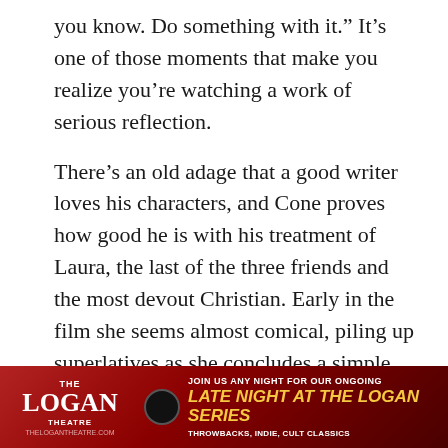you know. Do something with it.” It’s one of those moments that make you realize you’re watching a work of serious reflection.
There’s an old adage that a good writer loves his characters, and Cone proves how good he is with his treatment of Laura, the last of the three friends and the most devout Christian. Early in the film she seems almost comical, piling up superlatives as she concludes a simple lunchtime grace (“In your awesome, holy, amazing, awesome, awesome name! Amen”). After Tim’s confession and Brea’s doubt leave her isolated and defensive, Laura seems more pitiful than silly, dogged by the suspicion that her friends think she’s toc
[Figure (other): Advertisement banner for The Logan Theatre: 'JOIN US ANY NIGHT FOR OUR ONGOING LATE NIGHT AT THE LOGAN SERIES - THROWBACKS, INDIE, CULT CLASSICS' with thelogantheatre.com URL]